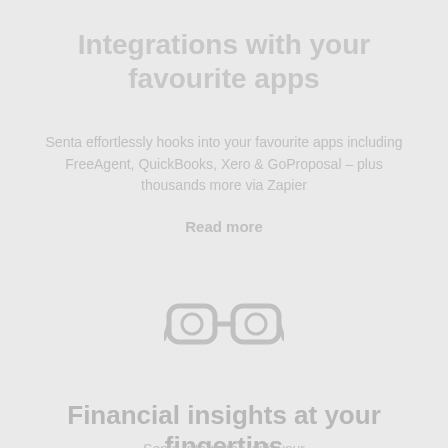Integrations with your favourite apps
Senta effortlessly hooks into your favourite apps including FreeAgent, QuickBooks, Xero & GoProposal – plus thousands more via Zapier
Read more
[Figure (illustration): Icon of glasses or goggles in grey outline style]
Financial insights at your fingertips
Senta integrates with your